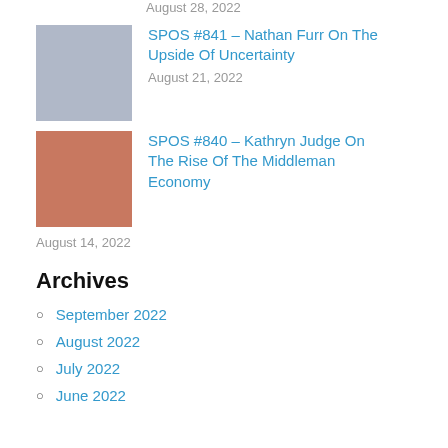August 28, 2022
[Figure (photo): Headshot of man with glasses in dark jacket]
SPOS #841 – Nathan Furr On The Upside Of Uncertainty
August 21, 2022
[Figure (photo): Headshot of woman with dark hair smiling, wearing red top]
SPOS #840 – Kathryn Judge On The Rise Of The Middleman Economy
August 14, 2022
Archives
September 2022
August 2022
July 2022
June 2022